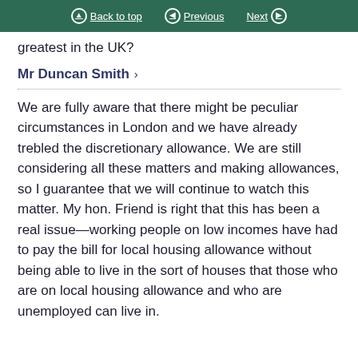Back to top | Previous | Next
greatest in the UK?
Mr Duncan Smith >
We are fully aware that there might be peculiar circumstances in London and we have already trebled the discretionary allowance. We are still considering all these matters and making allowances, so I guarantee that we will continue to watch this matter. My hon. Friend is right that this has been a real issue—working people on low incomes have had to pay the bill for local housing allowance without being able to live in the sort of houses that those who are on local housing allowance and who are unemployed can live in.